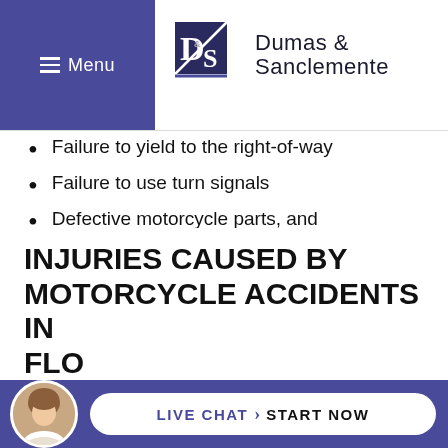Menu | Dumas & Sanclemente
Failure to yield to the right-of-way
Failure to use turn signals
Defective motorcycle parts, and
Other causes of motorcycle accidents in Florida that could be caused by the negligent act or omissions of other drivers, businesses, or government agencies.
INJURIES CAUSED BY MOTORCYCLE ACCIDENTS IN FLO...